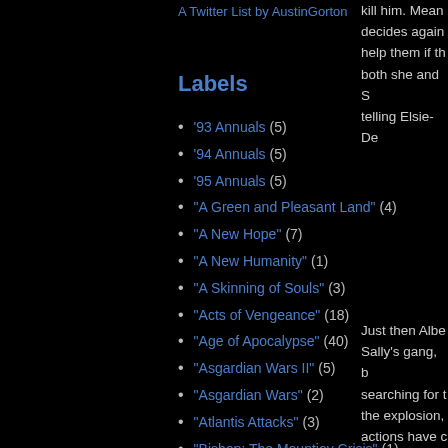A Twitter List by AustinGorton
Labels
'93 Annuals (5)
'94 Annuals (5)
'95 Annuals (5)
"A Green and Pleasant Land" (4)
"A New Hope" (7)
"A New Humanity" (1)
"A Skinning of Souls" (3)
"Acts of Vengeance" (18)
"Age of Apocalypse" (40)
"Asgardian Wars II" (5)
"Asgardian Wars" (2)
"Atlantis Attacks" (3)
"Bishop: The Mountjoy Crisis" (1)
"Bishop's Crossing" (3)
"Blood and Claws" (1)
"Blood Hungry" (1)
"Bloodties" (5)
kill him. Mean... decides again... help them if th... both she and S... telling Elsie-De...
Just then Albe... Sally's gang, b... searching for t... the explosion,... actions have c... gunned down.... everything is g... frequency is...